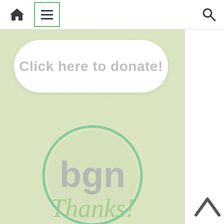[Figure (screenshot): Website navigation bar with home icon, hamburger menu icon in green border, and search icon]
[Figure (infographic): Green textured background with white rounded rectangle button containing text 'Click here to donate!', BGN logo circle in the center, and 'Thanks!' text in script font at the bottom]